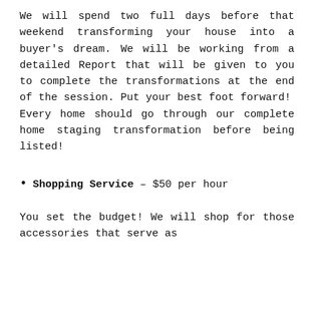We will spend two full days before that weekend transforming your house into a buyer's dream. We will be working from a detailed Report that will be given to you to complete the transformations at the end of the session. Put your best foot forward! Every home should go through our complete home staging transformation before being listed!
Shopping Service – $50 per hour
You set the budget! We will shop for those accessories that serve as